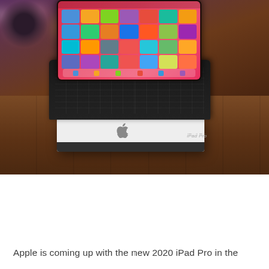[Figure (photo): Photo of an iPad Pro with Smart Keyboard Folio propped up in landscape orientation on top of its white retail box, sitting on a wooden table. The iPad screen shows the iOS home screen with colorful app icons. Background has warm bokeh lights in purple/pink tones.]
Apple is coming up with the new 2020 iPad Pro in the